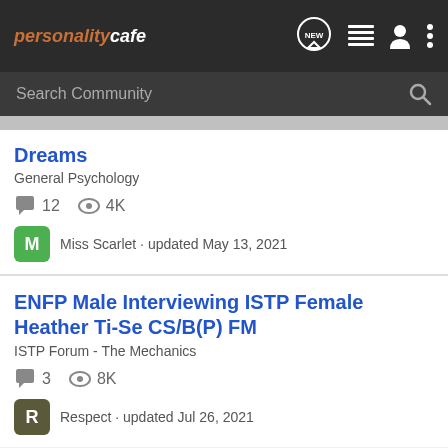personalitycafe
Search Community
Dreams
General Psychology
12  4K
Miss Scarlet · updated May 13, 2021
ENFP Male Interviewing ISTP Female Heather Ti-Se CS/B(P) FM
ISTP Forum - The Mechanics
3  8K
Respect · updated Jul 26, 2021